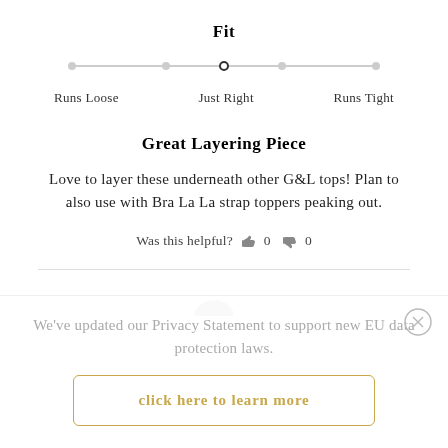Fit
[Figure (infographic): Horizontal slider/scale showing fit rating. Scale runs from 'Runs Loose' on the left to 'Runs Tight' on the right, with 'Just Right' in the center. The indicator circle/dot is positioned at center (Just Right).]
Runs Loose   Just Right   Runs Tight
Great Layering Piece
Love to layer these underneath other G&L tops! Plan to also use with Bra La La strap toppers peaking out.
Was this helpful? 👍 0 👎 0
We've updated our Privacy Statement to support new EU data protection laws.
click here to learn more